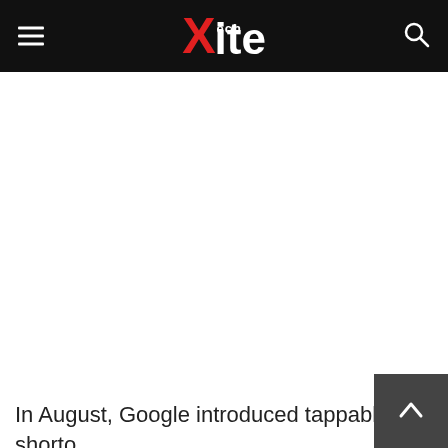TechXite
In August, Google introduced tappable shortcuts on the Google app for Android which will provide